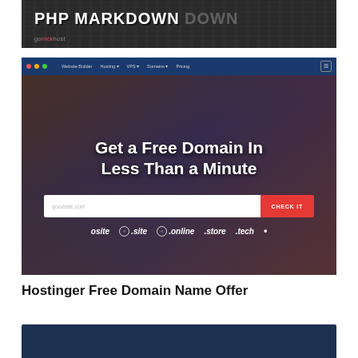[Figure (screenshot): Screenshot of a PHP Markdown tutorial page header with dark keyboard background and 'gonickhost' branding]
[Figure (screenshot): Screenshot of Hostinger website showing 'Get a Free Domain In Less Than a Minute' hero section with domain search bar and domain extension icons (.site, .online, .store, .tech)]
Hostinger Free Domain Name Offer
[Figure (screenshot): Bottom portion of another screenshot showing a dark navy blue background, partially visible]